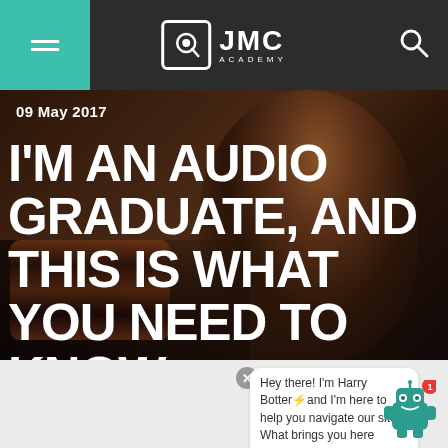JMC ACADEMY
09 May 2017
I'M AN AUDIO GRADUATE, AND THIS IS WHAT YOU NEED TO KNOW.
[Figure (photo): Dark photo of a person with long brown hair seen from behind, working at an audio mixing console/equipment.]
Hey there! I'm Harry Botter⚡and I'm here to help you navigate our site. What brings you here today?